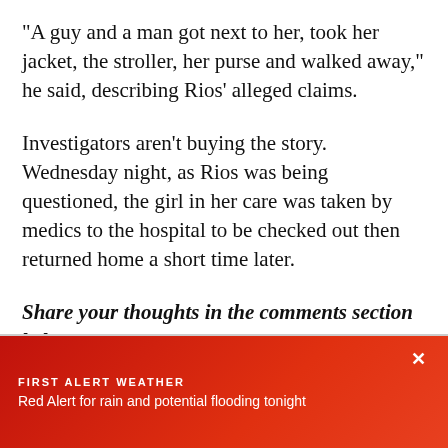"A guy and a man got next to her, took her jacket, the stroller, her purse and walked away," he said, describing Rios' alleged claims.
Investigators aren't buying the story. Wednesday night, as Rios was being questioned, the girl in her care was taken by medics to the hospital to be checked out then returned home a short time later.
Share your thoughts in the comments section below...
FIRST ALERT WEATHER
Red Alert for rain and potential flooding tonight